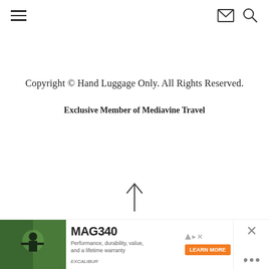[Hamburger menu icon] [Email icon] [Search icon]
Copyright © Hand Luggage Only. All Rights Reserved.
Exclusive Member of Mediavine Travel
[Figure (illustration): Upward arrow icon (↑) centered on the page]
[Figure (screenshot): Advertisement banner for MAG340 product showing a person with equipment, orange LEARN MORE button, and close/dismiss controls]